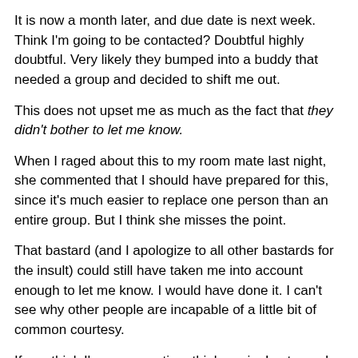It is now a month later, and due date is next week. Think I'm going to be contacted? Doubtful highly doubtful. Very likely they bumped into a buddy that needed a group and decided to shift me out.
This does not upset me as much as the fact that they didn't bother to let me know.
When I raged about this to my room mate last night, she commented that I should have prepared for this, since it's much easier to replace one person than an entire group. But I think she misses the point.
That bastard (and I apologize to all other bastards for the insult) could still have taken me into account enough to let me know. I would have done it. I can't see why other people are incapable of a little bit of common courtesy.
If you think I'm over-reacting, think again. Last year I failed a subject because half the group decided to leave an entire term before hand-in of a massive project and kindly informed us of this only a week before the due date.